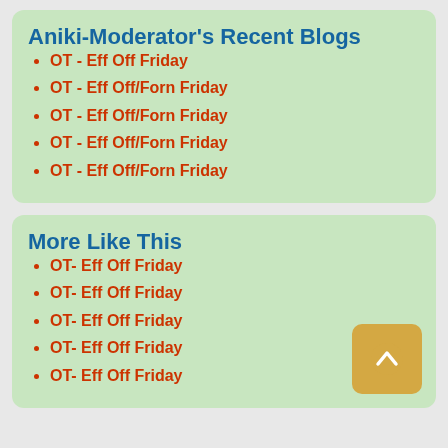Aniki-Moderator's Recent Blogs
OT - Eff Off Friday
OT - Eff Off/Forn Friday
OT - Eff Off/Forn Friday
OT - Eff Off/Forn Friday
OT - Eff Off/Forn Friday
More Like This
OT- Eff Off Friday
OT- Eff Off Friday
OT- Eff Off Friday
OT- Eff Off Friday
OT- Eff Off Friday